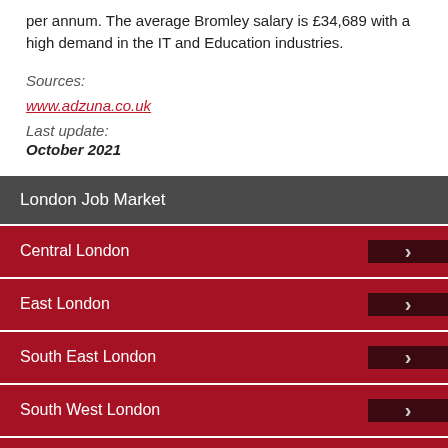per annum. The average Bromley salary is £34,689 with a high demand in the IT and Education industries.
Sources:
www.adzuna.co.uk
Last update: October 2021
London Job Market
Central London
East London
South East London
South West London
West London
Support Zone - London